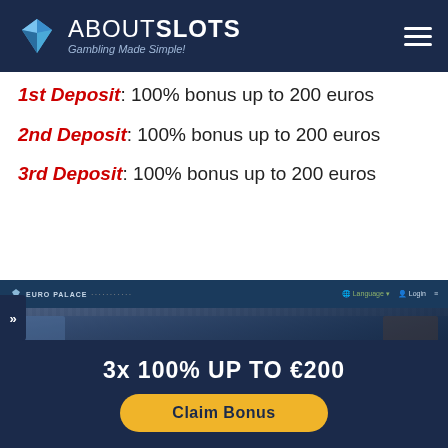ABOUTSLOTS - Gambling Made Simple!
1st Deposit: 100% bonus up to 200 euros
2nd Deposit: 100% bonus up to 200 euros
3rd Deposit: 100% bonus up to 200 euros
[Figure (screenshot): Euro Palace casino website screenshot showing Welcome offer $600 and How your bonus works section]
3x 100% UP TO €200
Claim Bonus